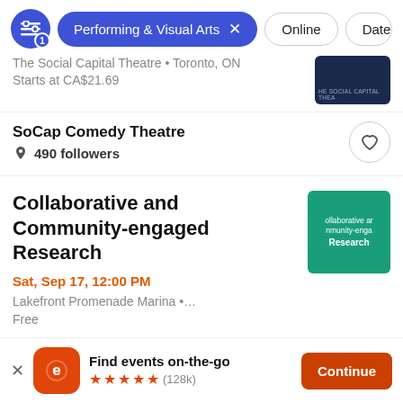Performing & Visual Arts filter active, Online, Date filters shown
The Social Capital Theatre • Toronto, ON
Starts at CA$21.69
SoCap Comedy Theatre
490 followers
Collaborative and Community-engaged Research
Sat, Sep 17, 12:00 PM
Lakefront Promenade Marina •…
Free
Find events on-the-go
★★★★★ (128k)